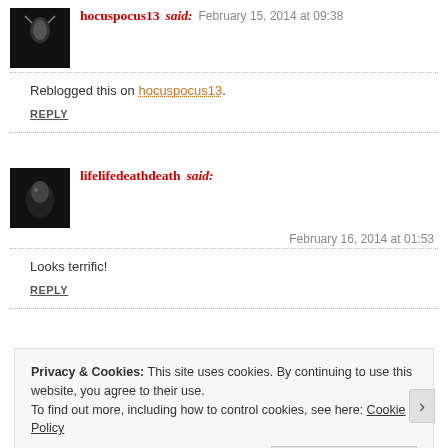hocuspocus13 said: February 15, 2014 at 09:38
Reblogged this on hocuspocus13.
REPLY
lifelifedeathdeath said: February 16, 2014 at 01:53
Looks terrific!
REPLY
Privacy & Cookies: This site uses cookies. By continuing to use this website, you agree to their use. To find out more, including how to control cookies, see here: Cookie Policy
Close and accept